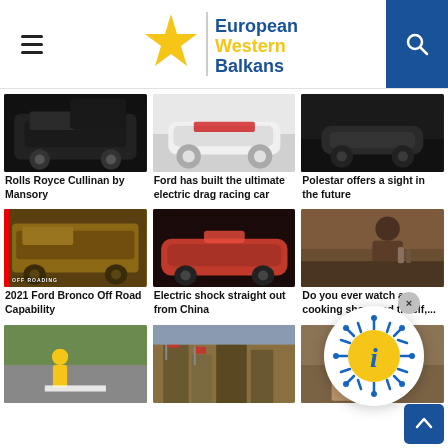[Figure (screenshot): European Western Balkans website header with hamburger menu, logo (star + text), and search icon on blue background]
[Figure (photo): Rolls Royce Cullinan by Mansory - black luxury SUV]
Rolls Royce Cullinan by Mansory
[Figure (photo): Ford electric drag racing car - white race car]
Ford has built the ultimate electric drag racing car
[Figure (photo): Polestar car in dark setting]
Polestar offers a sight in the future
[Figure (photo): 2021 Ford Bronco off-road with red stripe]
2021 Ford Bronco Off Road Capability
[Figure (photo): Red electric car from China]
Electric shock straight out from China
[Figure (photo): Man at kitchen counter - cooking show]
Do you ever watch a cooking show and t... elf,...
[Figure (photo): Road worker painting stripes]
[Figure (photo): Street scene in China with red flags]
[Figure (photo): Person with bag]
[Figure (infographic): Coronavirus info popup icon - yellow circle with blue spikes and letter i, with X close button]